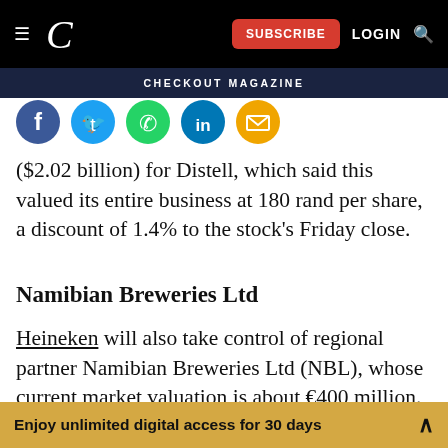Navigation bar: hamburger menu, C logo, SUBSCRIBE button, LOGIN, search icon
CHECKOUT MAGAZINE
[Figure (infographic): Social sharing icons row: Facebook (blue), Twitter (blue), WhatsApp (green), LinkedIn (blue), Email (orange/yellow)]
($2.02 billion) for Distell, which said this valued its entire business at 180 rand per share, a discount of 1.4% to the stock's Friday close.
Namibian Breweries Ltd
Heineken will also take control of regional partner Namibian Breweries Ltd (NBL), whose current market valuation is about €400 million.
The drinks giant will buy the 50.01% interest of
Enjoy unlimited digital access for 30 days